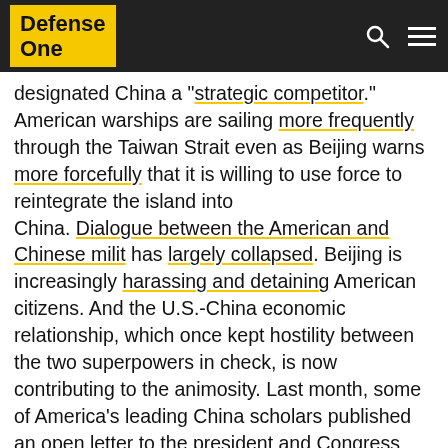Defense One
designated China a "strategic competitor." American warships are sailing more frequently through the Taiwan Strait even as Beijing warns more forcefully that it is willing to use force to reintegrate the island into China. Dialogue between the American and Chinese mili has largely collapsed. Beijing is increasingly harassing and detaining American citizens. And the U.S.-China economic relationship, which once kept hostility between the two superpowers in check, is now contributing to the animosity. Last month, some of America's leading China scholars published an open letter to the president and Congress warning of a dangerous “downward spiral in relations” between the two most powerful nations on Earth.
It's easy to see why Democrats don't talk much about